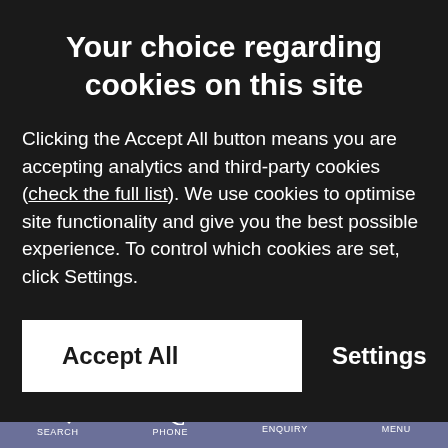Your choice regarding cookies on this site
Clicking the Accept All button means you are accepting analytics and third-party cookies (check the full list). We use cookies to optimise site functionality and give you the best possible experience. To control which cookies are set, click Settings.
Accept All
Settings
important part of your business enterprise.
SEARCH  PHONE  ENQUIRY  MENU